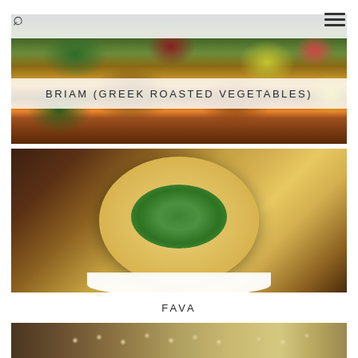Navigation bar with search and menu icons
[Figure (photo): Photo of Briam (Greek roasted vegetables) - colorful roasted vegetables including green peppers, red tomatoes, potatoes, and zucchini]
BRIAM (GREEK ROASTED VEGETABLES)
[Figure (photo): Photo of Fava - a yellow split pea puree in a white bowl, topped with chopped green onions and fresh herbs, with lemon wedges on the side]
FAVA
[Figure (photo): Partial photo showing what appears to be dried beans or legumes]